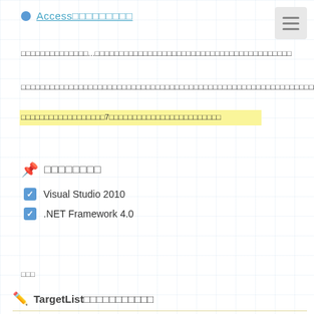Access□□□□□□□□□
□□□□□□□□□□□□□□...□□□□□□□□□□□□□□□□□□□□□□□□□□□□□□□□□□□□□□□□□
□□□□□□□□□□□□□□□□□□□□□□□□□□□□□□□□□□□□□□□□□□□□□□□□□□□□□□□□□□□□□□□□□□□
□□□□□□□□□□□□□□□□□□7□□□□□□□□□□□□□□□□□□□□□□□□
□□□□□□□□
Visual Studio 2010
.NET Framework 4.0
□□□
TargetList□□□□□□□□□□□
DataGridView □□□□□□□□□□□□□□□ updateList □□□□□□□□□□□□□□□□□□□